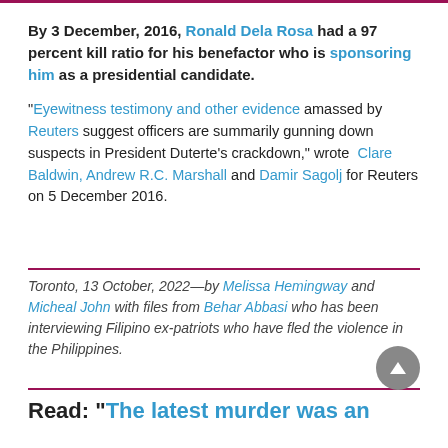By 3 December, 2016, Ronald Dela Rosa had a 97 percent kill ratio for his benefactor who is sponsoring him as a presidential candidate.
"Eyewitness testimony and other evidence amassed by Reuters suggest officers are summarily gunning down suspects in President Duterte's crackdown," wrote Clare Baldwin, Andrew R.C. Marshall and Damir Sagolj for Reuters on 5 December 2016.
Toronto, 13 October, 2022—by Melissa Hemingway and Micheal John with files from Behar Abbasi who has been interviewing Filipino ex-patriots who have fled the violence in the Philippines.
Read: “The latest murder was an